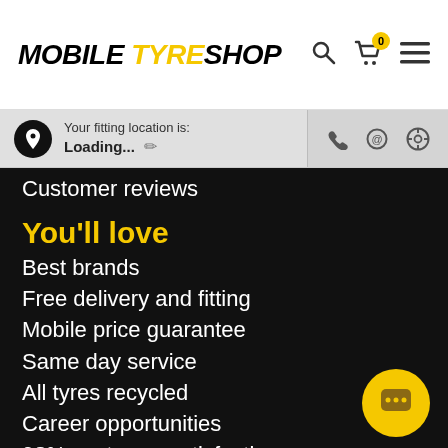MOBILE TYRE SHOP
Your fitting location is: Loading...
Customer reviews
You'll love
Best brands
Free delivery and fitting
Mobile price guarantee
Same day service
All tyres recycled
Career opportunities
98% customer satisfaction
Contact
Melbourne
Sydney